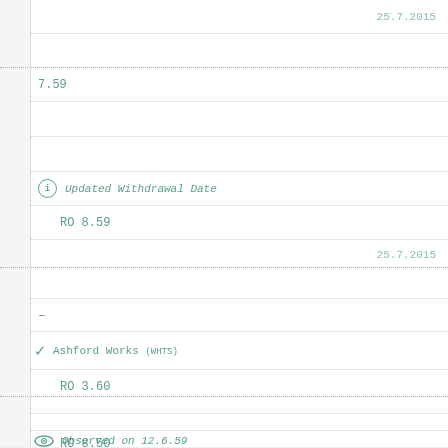|  | 25.7.2015 |
| 7.59 |  |
|  |  |
| ⓘ Updated Withdrawal Date |  |
| RO 8.59 |  |
|  | 25.7.2015 |
|  |  |
| – |  |
| ✓ Ashford Works (WHTS) |  |
| RO 3.60 |  |
|  | 25.7.2015 |
|  |  |
|  |  |
| 👁 Observed on 12.6.59 |  |
| RO 8.50 |  |